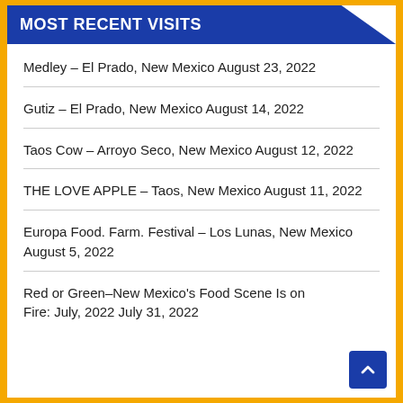MOST RECENT VISITS
Medley – El Prado, New Mexico August 23, 2022
Gutiz – El Prado, New Mexico August 14, 2022
Taos Cow – Arroyo Seco, New Mexico August 12, 2022
THE LOVE APPLE – Taos, New Mexico August 11, 2022
Europa Food. Farm. Festival – Los Lunas, New Mexico August 5, 2022
Red or Green–New Mexico's Food Scene Is on Fire: July, 2022 July 31, 2022